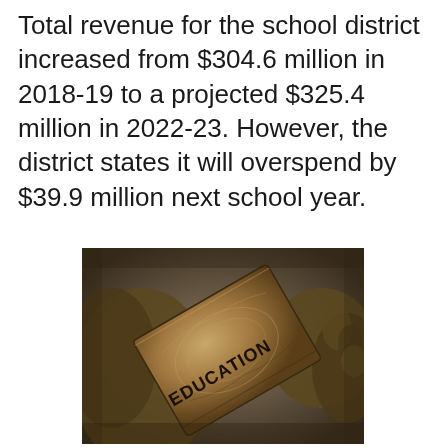Total revenue for the school district increased from $304.6 million in 2018-19 to a projected $325.4 million in 2022-23. However, the district states it will overspend by $39.9 million next school year.
[Figure (photo): Bronze sculpture close-up showing a book with the word EDUCATION engraved on its cover, held by bronze hands]